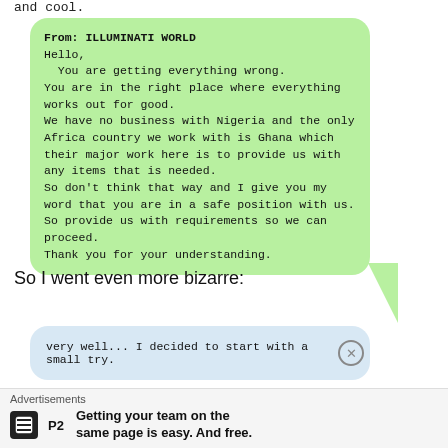and cool.
[Figure (screenshot): Green speech bubble containing a message from ILLUMINATI WORLD. Text: From: ILLUMINATI WORLD Hello, You are getting everything wrong. You are in the right place where everything works out for good. We have no business with Nigeria and the only Africa country we work with is Ghana which their major work here is to provide us with any items that is needed. So don't think that way and I give you my word that you are in a safe position with us. So provide us with requirements so we can proceed. Thank you for your understanding.]
So I went even more bizarre:
[Figure (screenshot): Light blue speech bubble with text: very well... I decided to start with a small try. Has a close/X button on the right.]
Advertisements
Getting your team on the same page is easy. And free.